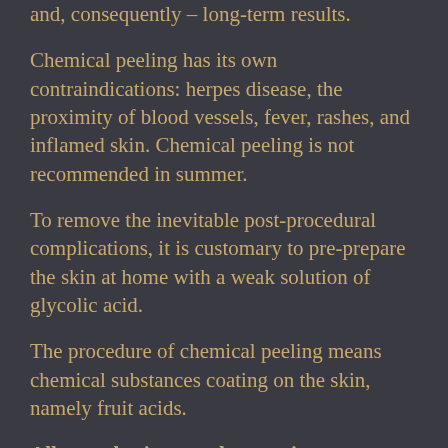and, consequently – long-term results.
Chemical peeling has its own contraindications: herpes disease, the proximity of blood vessels, fever, rashes, and inflamed skin. Chemical peeling is not recommended in summer.
To remove the inevitable post-procedural complications, it is customary to pre-prepare the skin at home with a weak solution of glycolic acid.
The procedure of chemical peeling means chemical substances coating on the skin, namely fruit acids.
All consultations are by appointment. Leave a request through the form below or order a call back so that the administrator of our center can contact you and schedule a visit at a